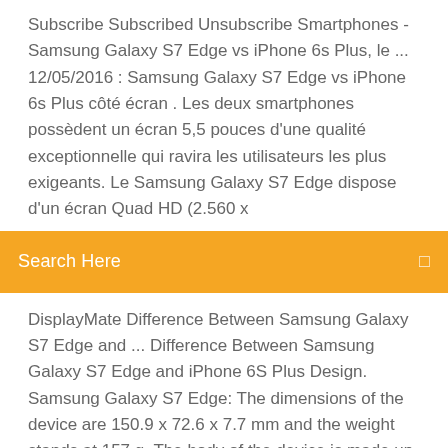Subscribe Subscribed Unsubscribe Smartphones - Samsung Galaxy S7 Edge vs iPhone 6s Plus, le ... 12/05/2016 : Samsung Galaxy S7 Edge vs iPhone 6s Plus côté écran . Les deux smartphones possèdent un écran 5,5 pouces d'une qualité exceptionnelle qui ravira les utilisateurs les plus exigeants. Le Samsung Galaxy S7 Edge dispose d'un écran Quad HD (2.560 x
[Figure (screenshot): Orange/amber search bar with 'Search Here' placeholder text and a search icon on the right]
DisplayMate Difference Between Samsung Galaxy S7 Edge and ... Difference Between Samsung Galaxy S7 Edge and iPhone 6S Plus Design. Samsung Galaxy S7 Edge: The dimensions of the device are 150.9 x 72.6 x 7.7 mm and the weight stands at 157 g. The body of the device is made up of glass and aluminum while its is water and dust resistant.
Driver sound windows 10 64 bit hp
Pack compatibilité office 2007
Call of duty black ops 3 pc trainer